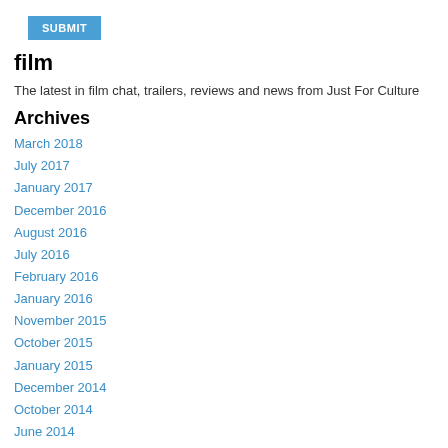[Figure (other): Blue SUBMIT button]
film
The latest in film chat, trailers, reviews and news from Just For Culture
Archives
March 2018
July 2017
January 2017
December 2016
August 2016
July 2016
February 2016
January 2016
November 2015
October 2015
January 2015
December 2014
October 2014
June 2014
May 2014